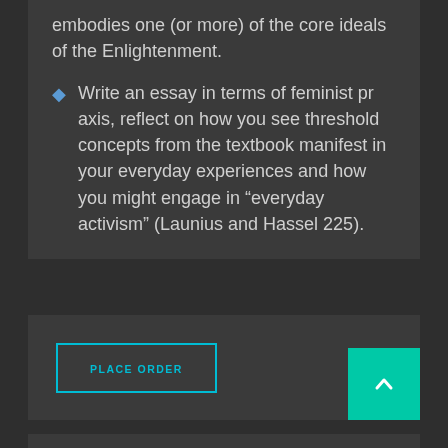embodies one (or more) of the core ideals of the Enlightenment.
Write an essay in terms of feminist pr axis, reflect on how you see threshold concepts from the textbook manifest in your everyday experiences and how you might engage in “everyday activism” (Launius and Hassel 225).
PLACE ORDER
[Figure (other): Scroll to top button, green square with upward arrow]